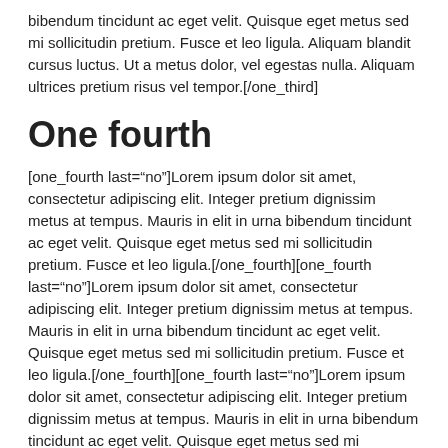bibendum tincidunt ac eget velit. Quisque eget metus sed mi sollicitudin pretium. Fusce et leo ligula. Aliquam blandit cursus luctus. Ut a metus dolor, vel egestas nulla. Aliquam ultrices pretium risus vel tempor.[/one_third]
One fourth
[one_fourth last="no"]Lorem ipsum dolor sit amet, consectetur adipiscing elit. Integer pretium dignissim metus at tempus. Mauris in elit in urna bibendum tincidunt ac eget velit. Quisque eget metus sed mi sollicitudin pretium. Fusce et leo ligula.[/one_fourth][one_fourth last="no"]Lorem ipsum dolor sit amet, consectetur adipiscing elit. Integer pretium dignissim metus at tempus. Mauris in elit in urna bibendum tincidunt ac eget velit. Quisque eget metus sed mi sollicitudin pretium. Fusce et leo ligula.[/one_fourth][one_fourth last="no"]Lorem ipsum dolor sit amet, consectetur adipiscing elit. Integer pretium dignissim metus at tempus. Mauris in elit in urna bibendum tincidunt ac eget velit. Quisque eget metus sed mi sollicitudin pretium. Fusce et leo ligula.[/one_fourth][one_fourth last="yes"]Lorem ipsum dolor sit amet, consectetur adipiscing elit. Integer pretium dignissim metus at tempus. Mauris in elit in urna